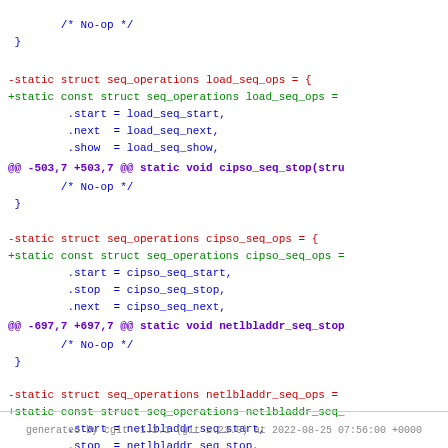/* No-op */
 }
-static struct seq_operations load_seq_ops = {
+static const struct seq_operations load_seq_ops =
         .start = load_seq_start,
         .next  = load_seq_next,
         .show  = load_seq_show,
@@ -503,7 +503,7 @@ static void cipso_seq_stop(stru
/* No-op */
 }
-static struct seq_operations cipso_seq_ops = {
+static const struct seq_operations cipso_seq_ops =
         .start = cipso_seq_start,
         .stop  = cipso_seq_stop,
         .next  = cipso_seq_next,
@@ -697,7 +697,7 @@ static void netlbladdr_seq_stop
/* No-op */
 }
-static struct seq_operations netlbladdr_seq_ops =
+static const struct seq_operations netlbladdr_seq_
         .start = netlbladdr_seq_start,
         .stop  = netlbladdr_seq_stop,
         .next  = netlbladdr_seq_next,
generated by cgit v1.2.1 (git 2.23.0) at 2022-08-25 07:56:00 +0000